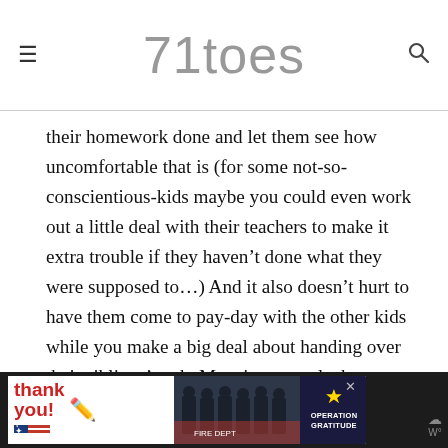71toes
their homework done and let them see how uncomfortable that is (for some not-so-conscientious-kids maybe you could even work out a little deal with their teachers to make it extra trouble if they haven’t done what they were supposed to…) And it also doesn’t hurt to have them come to pay-day with the other kids while you make a big deal about handing over their siblings’ cash. Most importantly, be patient.  If your kids are old enough and they need that money it’ll come together.
[Figure (screenshot): Advertisement bar at bottom showing Operation Gratitude ad with thank you text, firefighters photo, and Operation Gratitude logo]